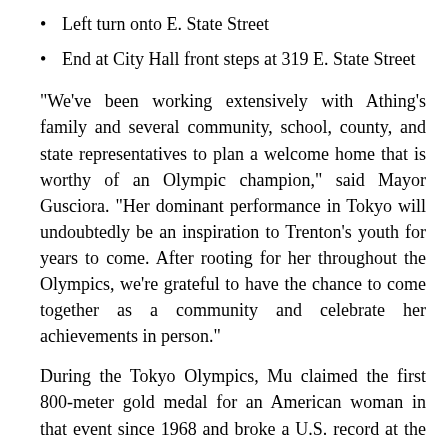Left turn onto E. State Street
End at City Hall front steps at 319 E. State Street
"We've been working extensively with Athing's family and several community, school, county, and state representatives to plan a welcome home that is worthy of an Olympic champion," said Mayor Gusciora. "Her dominant performance in Tokyo will undoubtedly be an inspiration to Trenton's youth for years to come. After rooting for her throughout the Olympics, we're grateful to have the chance to come together as a community and celebrate her achievements in person."
During the Tokyo Olympics, Mu claimed the first 800-meter gold medal for an American woman in that event since 1968 and broke a U.S. record at the same time. She then went on to help the U.S.